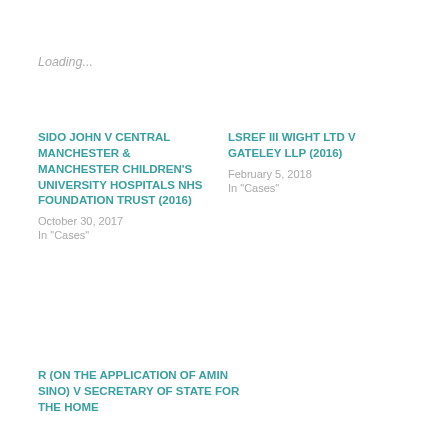Loading...
SIDO JOHN v CENTRAL MANCHESTER & MANCHESTER CHILDREN'S UNIVERSITY HOSPITALS NHS FOUNDATION TRUST (2016)
October 30, 2017
In "Cases"
LSREF III WIGHT LTD v GATELEY LLP (2016)
February 5, 2018
In "Cases"
R (on the application of AMIN SINO) v SECRETARY OF STATE FOR THE HOME